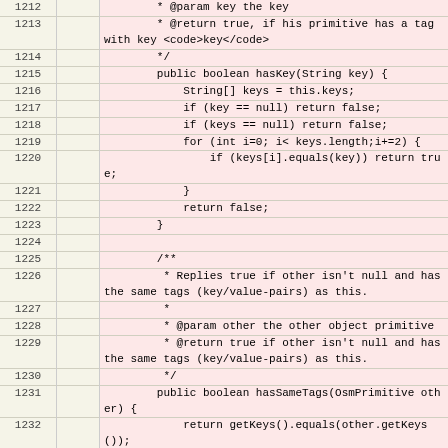[Figure (screenshot): Code diff viewer showing Java source lines 1212-1396, with added lines highlighted in red/pink. Lines include hasKey(), hasSameTags() methods and abstract visit() method declarations.]